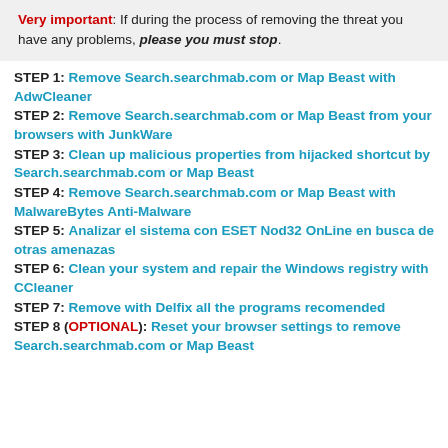Very important: If during the process of removing the threat you have any problems, please you must stop.
STEP 1: Remove Search.searchmab.com or Map Beast with AdwCleaner
STEP 2: Remove Search.searchmab.com or Map Beast from your browsers with JunkWare
STEP 3: Clean up malicious properties from hijacked shortcut by Search.searchmab.com or Map Beast
STEP 4: Remove Search.searchmab.com or Map Beast with MalwareBytes Anti-Malware
STEP 5: Analizar el sistema con ESET Nod32 OnLine en busca de otras amenazas
STEP 6: Clean your system and repair the Windows registry with CCleaner
STEP 7: Remove with Delfix all the programs recomended
STEP 8 (OPTIONAL): Reset your browser settings to remove Search.searchmab.com or Map Beast